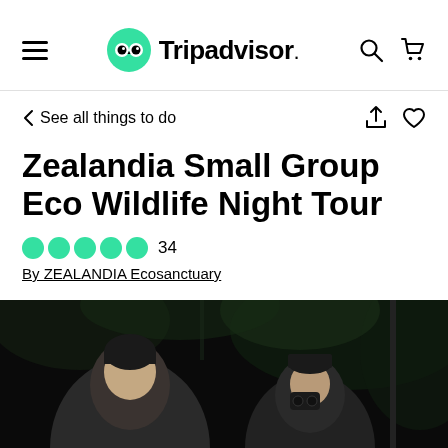Tripadvisor
See all things to do
Zealandia Small Group Eco Wildlife Night Tour
●●●●● 34
By ZEALANDIA Ecosanctuary
[Figure (photo): Night tour photo showing people in a dark forest setting, two individuals visible in foreground]